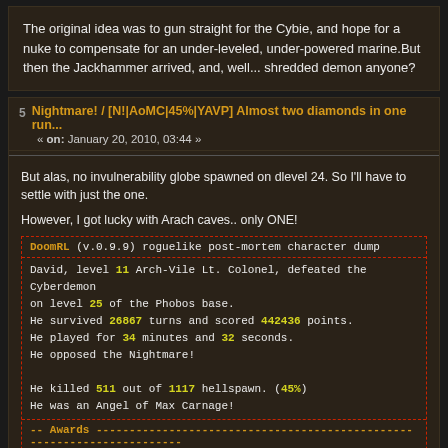The original idea was to gun straight for the Cybie, and hope for a nuke to compensate for an under-leveled, under-powered marine.But then the Jackhammer arrived, and, well... shredded demon anyone?
5 Nightmare! / [N!|AoMC|45%|YAVP] Almost two diamonds in one run... « on: January 20, 2010, 03:44 »
But alas, no invulnerability globe spawned on dlevel 24. So I'll have to settle with just the one.
However, I got lucky with Arach caves.. only ONE!
DoomRL (v.0.9.9) roguelike post-mortem character dump
David, level 11 Arch-Vile Lt. Colonel, defeated the Cyberdemon on level 25 of the Phobos base. He survived 26867 turns and scored 442436 points. He played for 34 minutes and 32 seconds. He opposed the Nightmare! He killed 511 out of 1117 hellspawn. (45%) He was an Angel of Max Carnage!
Awards
UAC Star (silver cluster)
Minor Icarus Cross
Destroyer Gold Badge
Destroyer Platinum Badge
Destroyer Diamond Badge